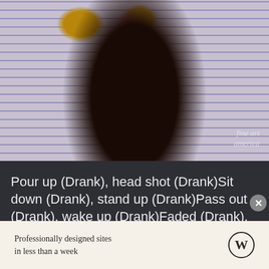[Figure (photo): A painting of a figure in a dark maroon robe holding a glass, with tiled floor in background. Fine Art America watermark visible.]
Pour up (Drank), head shot (Drank)Sit down (Drank), stand up (Drank)Pass out (Drank), wake up (Drank)Faded (Drank), faded (Drank).[...]First you get a swimming pool full of liquor, then you dive in itPool full of liquor
Professionally designed sites
in less than a week